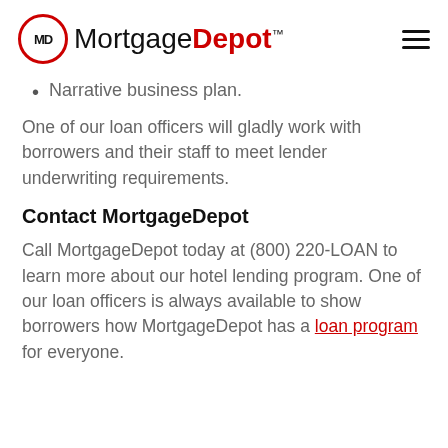MortgageDepot™
Narrative business plan.
One of our loan officers will gladly work with borrowers and their staff to meet lender underwriting requirements.
Contact MortgageDepot
Call MortgageDepot today at (800) 220-LOAN to learn more about our hotel lending program. One of our loan officers is always available to show borrowers how MortgageDepot has a loan program for everyone.